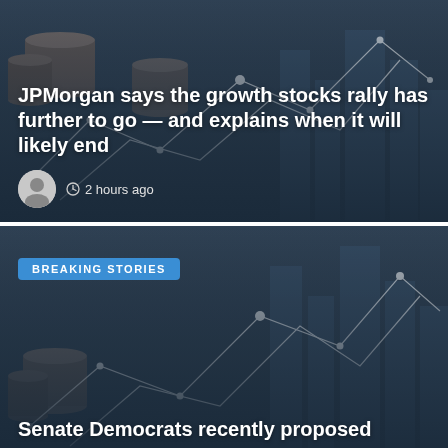[Figure (photo): Financial news card with dark blue-grey background showing stacked coins and city skyline with network lines overlay. Article title and author avatar shown.]
JPMorgan says the growth stocks rally has further to go — and explains when it will likely end
2 hours ago
[Figure (photo): Second financial news card with dark blue-grey background showing stacked coins and city skyline with network lines overlay. Breaking Stories badge and partial article title shown.]
BREAKING STORIES
Senate Democrats recently proposed